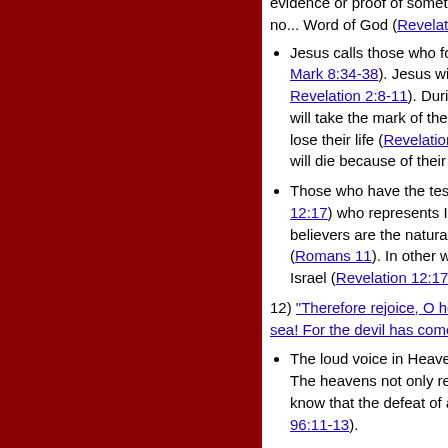evidence or proof of something (Revelation ...) willingness to die for their faith, as they do no... Word of God (Revelation 6:9-11).
Jesus calls those who follow Him to hate this... (Mark 8:34-38). Jesus will give them the crown... (Revelation 2:8-11). During the Tribulation ma... will take the mark of the beast and worship h... lose their life (Revelation 14:9-11). But those... will die because of their testimony, but will ha...
Those who have the testimony of the Lamb a... (Revelation 12:17) who represents Israel (Revelation 12:... believers are the natural branches and Genti... (Romans 11). In other words, those who hol... Israel (Revelation 12:17).
12) "Therefore rejoice, O heavens, and you who dw... sea! For the devil has come down to you, having gr...
The loud voice in Heaven tells the inhabitant... The heavens not only rejoice just because S... know that the defeat of all the Lord's enemie... (Psalm 96:11-13).
While the inhabitants in the heavens rejoice t... earth will mourn in affliction because he com... in Heaven warns the inhabitants of the earth... prophets often used the word "woe" usually... grief, affliction, anguish, deep distress...